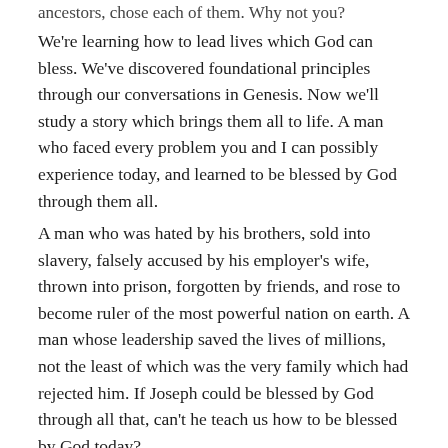ancestors, chose each of them. Why not you?
We're learning how to lead lives which God can bless. We've discovered foundational principles through our conversations in Genesis. Now we'll study a story which brings them all to life. A man who faced every problem you and I can possibly experience today, and learned to be blessed by God through them all.
A man who was hated by his brothers, sold into slavery, falsely accused by his employer's wife, thrown into prison, forgotten by friends, and rose to become ruler of the most powerful nation on earth. A man whose leadership saved the lives of millions, not the least of which was the very family which had rejected him. If Joseph could be blessed by God through all that, can't he teach us how to be blessed by God today?